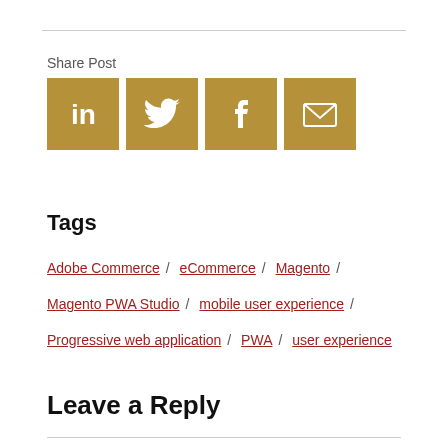Share Post
[Figure (infographic): Four social sharing icons (LinkedIn, Twitter, Facebook, Email) in golden/tan square buttons]
Tags
Adobe Commerce / eCommerce / Magento /
Magento PWA Studio / mobile user experience /
Progressive web application / PWA / user experience
Leave a Reply